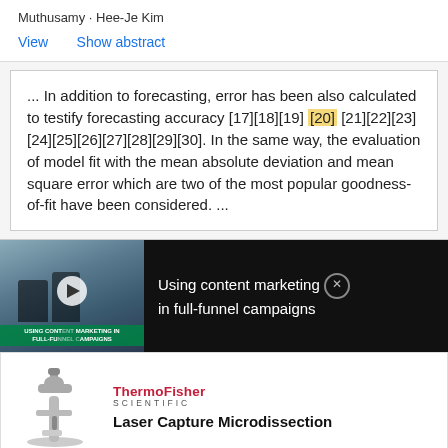Muthusamy · Hee-Je Kim
View   Show abstract
... In addition to forecasting, error has been also calculated to testify forecasting accuracy [17][18][19] [20] [21][22][23][24][25][26][27][28][29][30]. In the same way, the evaluation of model fit with the mean absolute deviation and mean square error which are two of the most popular goodness-of-fit have been considered. ...
[Figure (screenshot): Video advertisement thumbnail showing people working at a desk with text overlay 'USING CONTENT MARKETING IN FULL-FUNNEL CAMPAIGNS' and a play button]
Using content marketing in full-funnel campaigns
[Figure (photo): ThermoFisher Scientific advertisement showing a microscope image with text 'Laser Capture Microdissection']